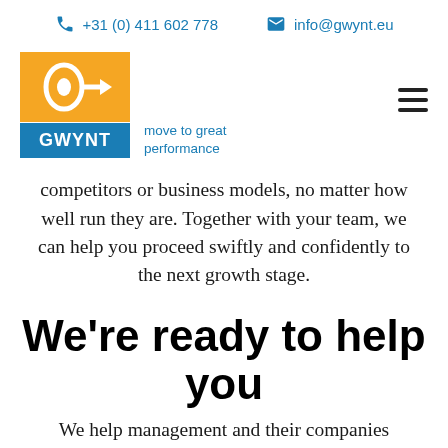+31 (0) 411 602 778  info@gwynt.eu
[Figure (logo): GWYNT logo with orange top section showing abstract arrow/eye symbol and blue bottom section with text GWYNT and tagline 'move to great performance']
competitors or business models, no matter how well run they are. Together with your team, we can help you proceed swiftly and confidently to the next growth stage.
We're ready to help you
We help management and their companies